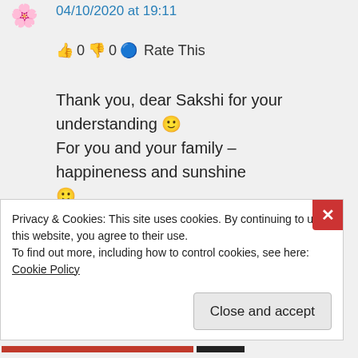[Figure (illustration): Emoji avatar icon (flower/heart emoji) in top left]
04/10/2020 at 19:11
👍 0 👎 0 ℹ Rate This
Thank you, dear Sakshi for your understanding 🙂 For you and your family – happineness and sunshine 🙂 Didi
★ Like
Privacy & Cookies: This site uses cookies. By continuing to use this website, you agree to their use.
To find out more, including how to control cookies, see here: Cookie Policy
Close and accept